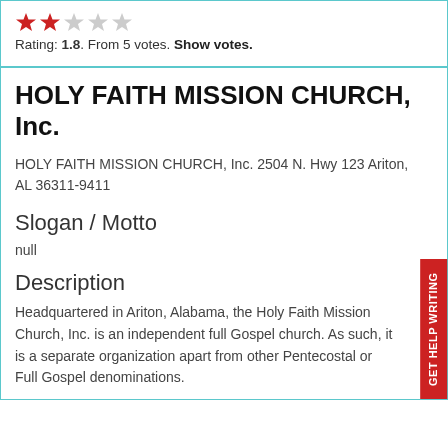Rating: 1.8. From 5 votes. Show votes.
HOLY FAITH MISSION CHURCH, Inc.
HOLY FAITH MISSION CHURCH, Inc. 2504 N. Hwy 123 Ariton, AL 36311-9411
Slogan / Motto
null
Description
Headquartered in Ariton, Alabama, the Holy Faith Mission Church, Inc. is an independent full Gospel church. As such, it is a separate organization apart from other Pentecostal or Full Gospel denominations.